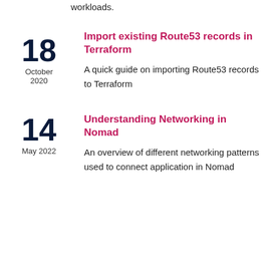workloads.
Import existing Route53 records in Terraform
A quick guide on importing Route53 records to Terraform
Understanding Networking in Nomad
An overview of different networking patterns used to connect application in Nomad